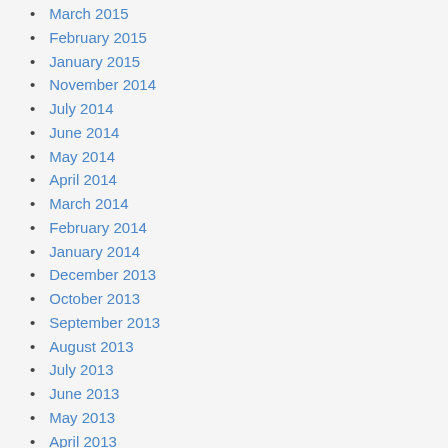March 2015
February 2015
January 2015
November 2014
July 2014
June 2014
May 2014
April 2014
March 2014
February 2014
January 2014
December 2013
October 2013
September 2013
August 2013
July 2013
June 2013
May 2013
April 2013
March 2013
February 2013